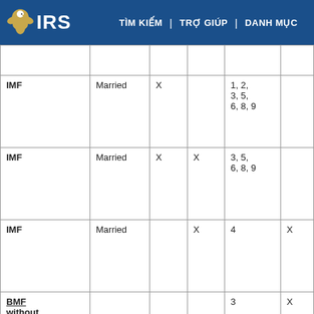IRS | TÌM KIẾM | TRỢ GIÚP | DANH MỤC
|  |  |  |  |  |  |
| --- | --- | --- | --- | --- | --- |
|  |  |  |  |  |  |
| IMF | Married | X |  | 1, 2, 3, 5, 6, 8, 9 |  |
| IMF | Married | X | X | 3, 5, 6, 8, 9 |  |
| IMF | Married |  | X | 4 | X |
| BMF without MFT's of: 02, 03 with a Tax Period |  |  |  | 3 | X |